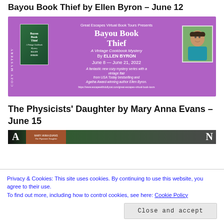Bayou Book Thief by Ellen Byron – June 12
[Figure (illustration): Promotional banner for 'Bayou Book Thief' by Ellen Byron. Purple/violet background with decorative swirls. Text reads: 'Great Escapes Virtual Book Tours Presents', large title 'Bayou Book Thief', subtitle 'A Vintage Cookbook Mystery', author 'By ELLEN BYRON', dates 'June 8 — June 21, 2022', tagline 'A fantastic new cozy mystery series with a vintage flair from USA Today bestselling and Agatha Award-winning author Ellen Byron.' URL shown. Book cover image on left, author photo on right. 'COZY MYSTERY' text runs vertically on left side.]
The Physicists' Daughter by Mary Anna Evans – June 15
Privacy & Cookies: This site uses cookies. By continuing to use this website, you agree to their use.
To find out more, including how to control cookies, see here: Cookie Policy
Close and accept
[Figure (photo): Bottom portion of a book tour promotional image for 'The Physicists' Daughter' by Mary Anna Evans. Shows partial letters 'A' and 'N' on edges, a book spine with author name 'MARY ANNA EVANS', and a dark green/brown composite background.]